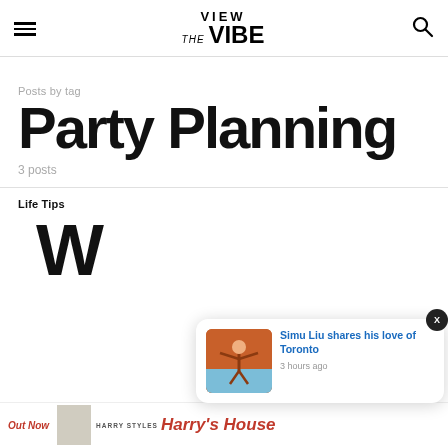VIEW the VIBE
Posts by tag
Party Planning
3 posts
Life Tips
W
[Figure (photo): Notification popup showing Simu Liu shares his love of Toronto, 3 hours ago, with a photo of a person in martial arts pose by waterfront]
[Figure (photo): Advertisement banner: Out Now - Harry Styles Harry's House]